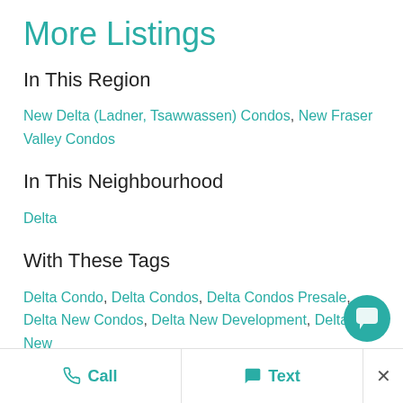More Listings
In This Region
New Delta (Ladner, Tsawwassen) Condos, New Fraser Valley Condos
In This Neighbourhood
Delta
With These Tags
Delta Condo, Delta Condos, Delta Condos Presale, Delta New Condos, Delta New Development, Delta New
Call  Text  ×